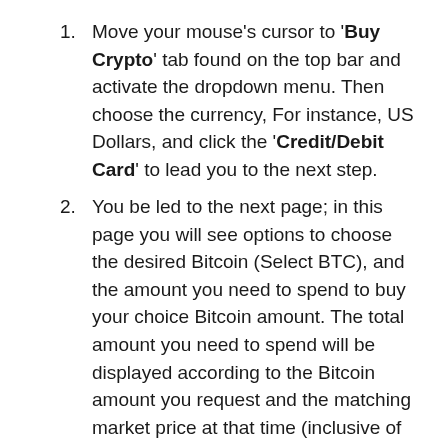Move your mouse's cursor to 'Buy Crypto' tab found on the top bar and activate the dropdown menu. Then choose the currency, For instance, US Dollars, and click the 'Credit/Debit Card' to lead you to the next step.
You be led to the next page; in this page you will see options to choose the desired Bitcoin (Select BTC), and the amount you need to spend to buy your choice Bitcoin amount. The total amount you need to spend will be displayed according to the Bitcoin amount you request and the matching market price at that time (inclusive of all fees). However, you can choose to first set the total charge then the